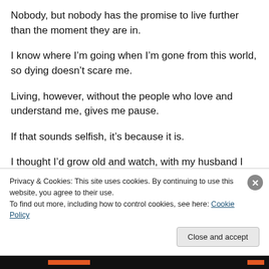Nobody, but nobody has the promise to live further than the moment they are in.
I know where I'm going when I'm gone from this world, so dying doesn't scare me.
Living, however, without the people who love and understand me, gives me pause.
If that sounds selfish, it's because it is.
I thought I'd grow old and watch, with my husband I dearly loved, grandchildren playing in the yard.
Privacy & Cookies: This site uses cookies. By continuing to use this website, you agree to their use.
To find out more, including how to control cookies, see here: Cookie Policy
Close and accept